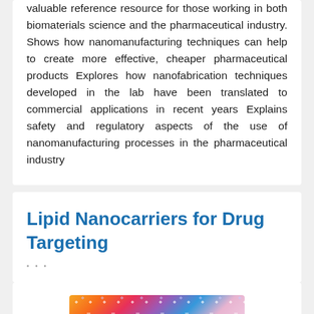valuable reference resource for those working in both biomaterials science and the pharmaceutical industry. Shows how nanomanufacturing techniques can help to create more effective, cheaper pharmaceutical products Explores how nanofabrication techniques developed in the lab have been translated to commercial applications in recent years Explains safety and regulatory aspects of the use of nanomanufacturing processes in the pharmaceutical industry
Lipid Nanocarriers for Drug Targeting
[Figure (photo): Colorful microscopy or illustration image showing nanoparticles or lipid nanocarriers with blue, pink, orange and purple hues with circular dot patterns]